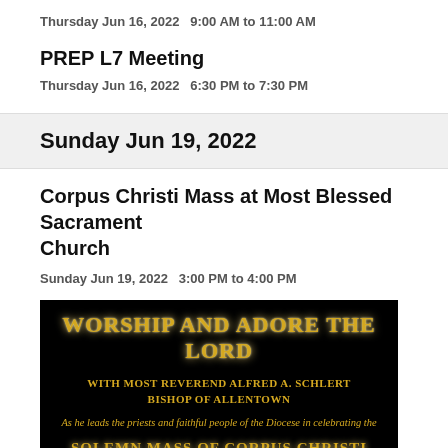Thursday Jun 16, 2022   9:00 AM to 11:00 AM
PREP L7 Meeting
Thursday Jun 16, 2022   6:30 PM to 7:30 PM
Sunday Jun 19, 2022
Corpus Christi Mass at Most Blessed Sacrament Church
Sunday Jun 19, 2022   3:00 PM to 4:00 PM
[Figure (photo): Black background banner image with golden text: 'WORSHIP AND ADORE THE LORD', 'WITH MOST REVEREND ALFRED A. SCHLERT BISHOP OF ALLENTOWN', 'As he leads the priests and faithful people of the Diocese in celebrating the', 'SOLEMN MASS OF CORPUS CHRISTI']